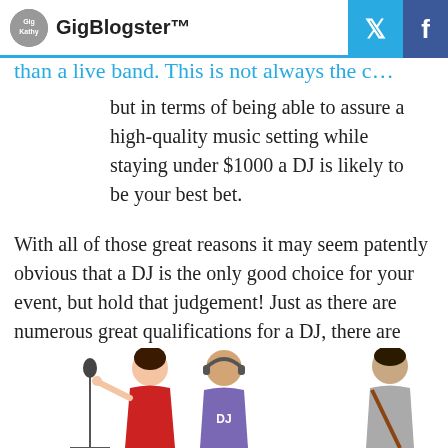GigBlogster™
than a live band. This is not always the c…
but in terms of being able to assure a high-quality music setting while staying under $1000 a DJ is likely to be your best bet.
With all of those great reasons it may seem patently obvious that a DJ is the only good choice for your event, but hold that judgement! Just as there are numerous great qualifications for a DJ, there are equally legitimate and different ones for opting instead for a live performance.
[Figure (illustration): Three illustrated characters: a woman in red singing into a microphone, a DJ with headphones and a DJ shirt, and a person with a guitar strap.]